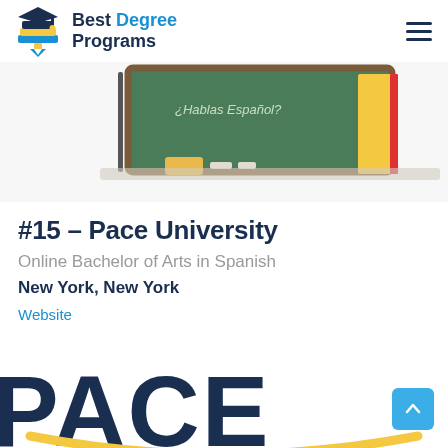Best Degree Programs
[Figure (photo): A classroom chalkboard with Spanish text, an eraser, chalk, and a red and yellow book standing upright, on a white background]
#15 – Pace University
Online Bachelor of Arts in Spanish
New York, New York
Website
[Figure (logo): Pace University logo — large dark blue letters PACE with a gold arc underneath, partially cropped]